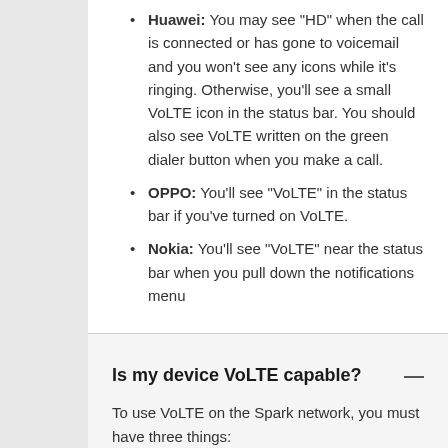Huawei: You may see "HD" when the call is connected or has gone to voicemail and you won't see any icons while it's ringing. Otherwise, you'll see a small VoLTE icon in the status bar. You should also see VoLTE written on the green dialer button when you make a call.
OPPO: You'll see "VoLTE" in the status bar if you've turned on VoLTE.
Nokia: You'll see "VoLTE" near the status bar when you pull down the notifications menu
Is my device VoLTE capable?
To use VoLTE on the Spark network, you must have three things:
A VoLTE capable device - see list of VoLTE capable devices below.